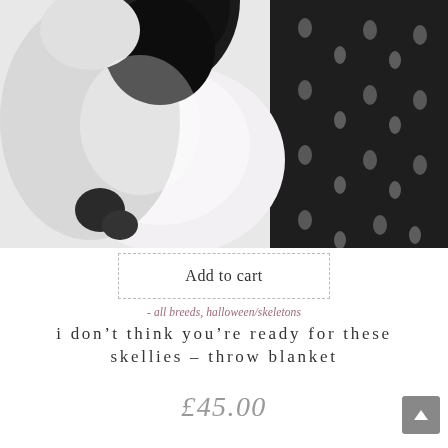[Figure (photo): A dog (appears to be a Border Collie or similar breed) lying on a light blanket/throw, with a dark skeleton-patterned fabric visible on the right side. The photo is in black and white tones.]
Add to cart
- all breeds, halloween/skeletons
i don’t think you’re ready for these skellies – throw blanket
£45.00